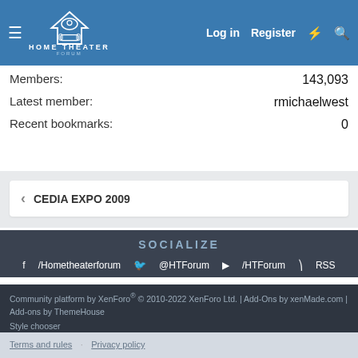HOME THEATER FORUM — Log in | Register
Members: 143,093
Latest member: rmichaelwest
Recent bookmarks: 0
CEDIA EXPO 2009
SOCIALIZE
/Hometheaterforum  @HTForum  /HTForum  RSS
Community platform by XenForo® © 2010-2022 XenForo Ltd. | Add-Ons by xenMade.com | Add-ons by ThemeHouse
Style chooser
Terms and rules
Privacy policy